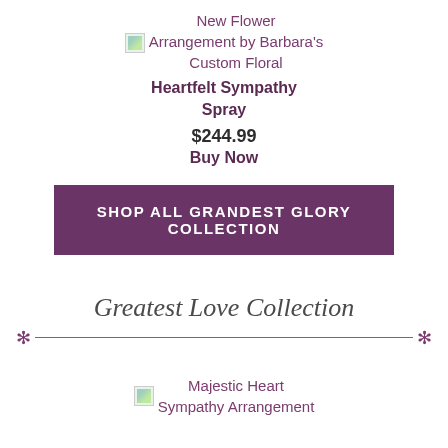[Figure (illustration): Small broken image placeholder icon for flower arrangement product]
New Flower Arrangement by Barbara's Custom Floral
Heartfelt Sympathy Spray
$244.99
Buy Now
SHOP ALL GRANDEST GLORY COLLECTION
Greatest Love Collection
[Figure (illustration): Small broken image placeholder icon for Majestic Heart product]
Majestic Heart Sympathy Arrangement